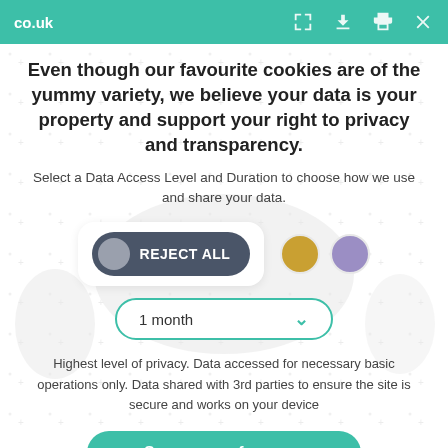co.uk
Even though our favourite cookies are of the yummy variety, we believe your data is your property and support your right to privacy and transparency.
Select a Data Access Level and Duration to choose how we use and share your data.
[Figure (screenshot): Cookie consent UI showing a dark 'REJECT ALL' toggle button with a grey circle on the left, a gold circle and a purple circle for other options, and a '1 month' dropdown selector with a teal border.]
Highest level of privacy. Data accessed for necessary basic operations only. Data shared with 3rd parties to ensure the site is secure and works on your device
Save my preferences